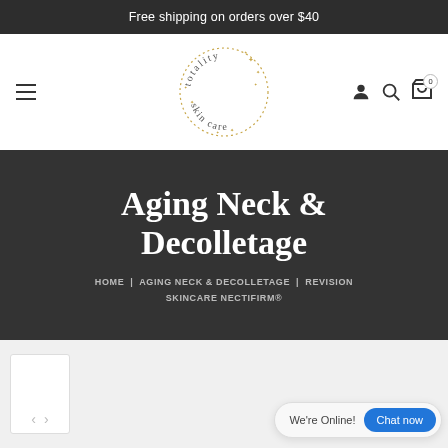Free shipping on orders over $40
[Figure (logo): Totality Skin Care circular logo with gold star decorations]
Aging Neck & Decolletage
HOME | AGING NECK & DECOLLETAGE | REVISION SKINCARE NECTIFIRM®
We're Online! Chat now